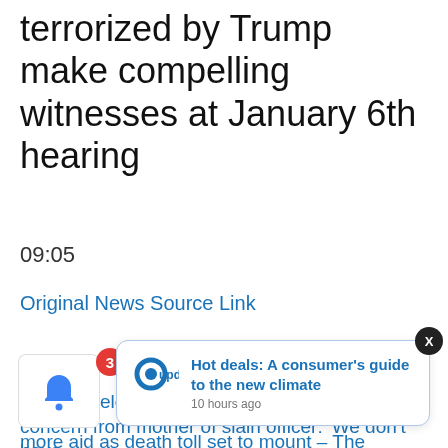terrorized by Trump make compelling witnesses at January 6th hearing
09:05
Original News Source Link
TRUMP NEWS
Los Angeles DA George Gascon brushes off concern from mother of slain officer: 'We don't have
Afghanis... more aid as death toll set to mount – The Guardian
[Figure (screenshot): Notification popup card with Updatem logo showing 'Hot deals: A consumer's guide to the new climate' posted 10 hours ago, with a close X button, and a notification bell with badge showing 3]